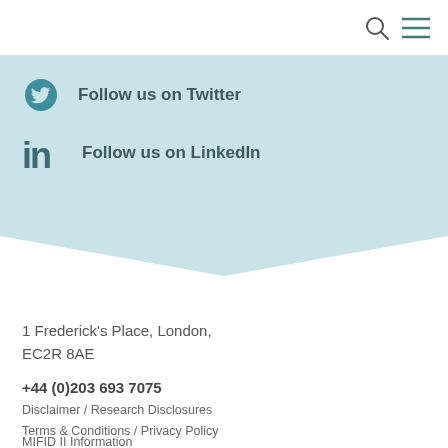[Figure (illustration): Light blue triangular/diamond banner shape with Twitter bird icon and LinkedIn icon with social follow links]
Follow us on Twitter
Follow us on LinkedIn
1 Frederick's Place, London, EC2R 8AE
+44 (0)203 693 7075
Disclaimer / Research Disclosures
Terms & Conditions / Privacy Policy
MIFID II Information